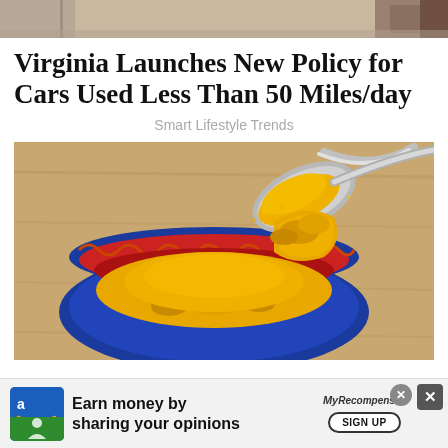[Figure (photo): Top strip showing partial image, likely a person or vehicle in muted warm tones]
Virginia Launches New Policy for Cars Used Less Than 50 Miles/day
Smart Lifestyle Trends
[Figure (photo): A colorful ceramic bowl (blue rim, red and green interior decoration) filled with bright yellow turmeric powder, with a metal spoon scooping powder above the bowl, on a wooden surface]
[Figure (other): Advertisement banner: 'Earn money by sharing your opinions' with Amazon logo icon on left, MyRecompensas branding with SIGN UP button on right, close buttons top right]